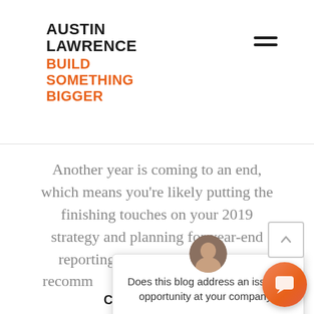Austin Lawrence Build Something Bigger
Another year is coming to an end, which means you’re likely putting the finishing touches on your 2019 strategy and planning for year-end reporting. While you’re at it, we recomm[end checking your] HubSpot[...] well, so y[ou...]
Continue Reading
[Figure (photo): Author avatar portrait photo]
[Figure (screenshot): Chat popup overlay: 'Does this blog address an issue or opportunity at your company?' with close X button and user avatar photo]